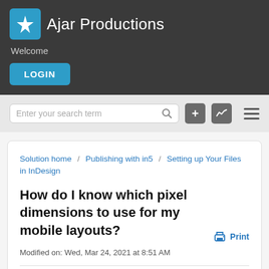Ajar Productions
Welcome
LOGIN
Enter your search term
Solution home / Publishing with in5 / Setting up Your Files in InDesign
How do I know which pixel dimensions to use for my mobile layouts?
Modified on: Wed, Mar 24, 2021 at 8:51 AM
Print